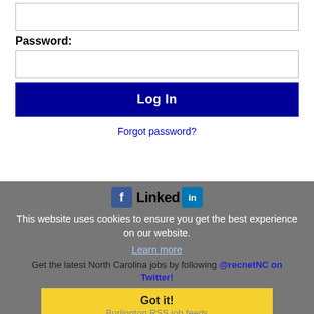[Figure (other): Empty text input box (top, for username/email)]
Password:
[Figure (other): Empty password input box]
Log In
Forgot password?
This website uses cookies to ensure you get the best experience on our website.
Learn more
Get the latest North Carolina jobs by following @recnetNC on Twitter!
Got it!
Burlington RSS job feeds